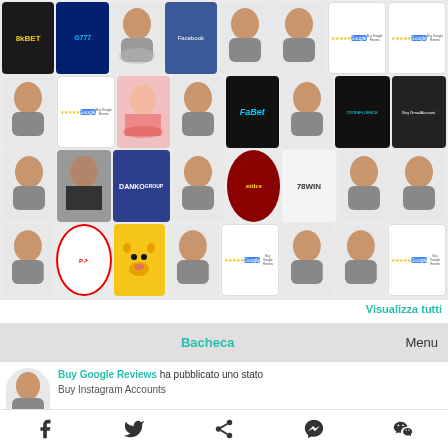[Figure (screenshot): Grid of profile avatars and app/brand logos arranged in 4 rows of 8 cells each. Includes: 8kBET, 777, cartoon avatar, Facebook, cartoon avatar, cartoon avatar, Buy Google Review, Buy Google Review logos; cartoon avatars, Buy Google Review, woman photo, cartoon avatar, FaBet, cartoon avatar, CROINFLUENCE, Buy Gmail Account; cartoon avatar, person photo, DANKO GROUP, cartoon avatar, attice logo, 78win, cartoon avatars x2; cartoon avatar, payday logo, Winnie the Pooh, cartoon avatar, Buy Google Review, cartoon avatar, cartoon avatar, Buy Google Review]
Visualizza tutti
Menu
Bacheca
Buy Google Reviews ha pubblicato uno stato
Buy Instagram Accounts
[Figure (infographic): Bottom share bar with Facebook, Twitter, share, Messenger, and WeChat icons]